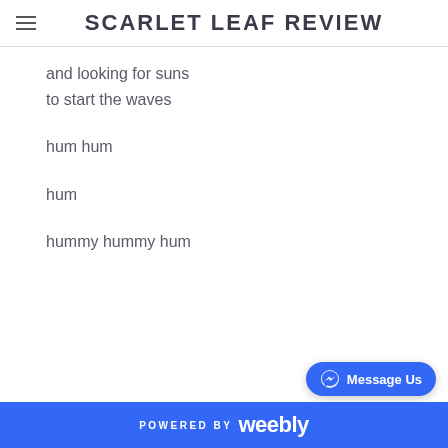SCARLET LEAF REVIEW
and looking for suns
to start the waves
hum hum
hum
hummy hummy hum
POWERED BY weebly